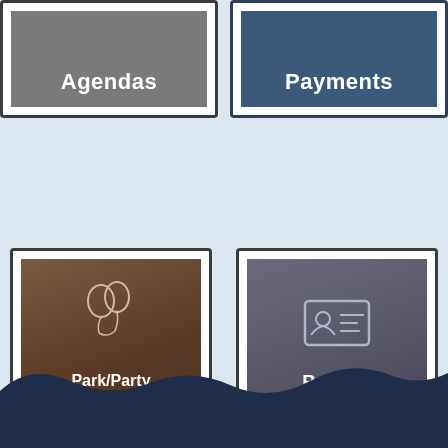[Figure (infographic): Agendas tile - gray square button partially visible at top left]
[Figure (infographic): Payments tile - steel blue square button partially visible at top right]
[Figure (infographic): Park/Party Reservations tile - brown square button with balloon icon and text]
[Figure (infographic): Permits tile - gray square button with ID card icon and text]